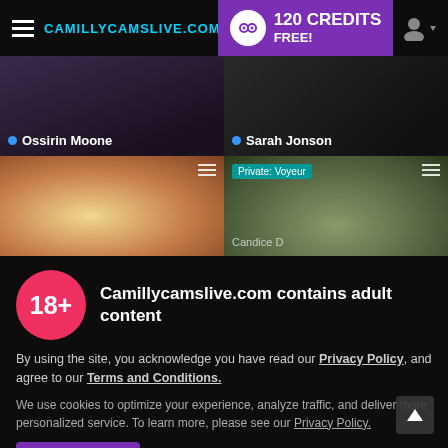CAMILLYCAMSLIVE.COM — 120 CREDITS FREE!
[Figure (screenshot): Live cam grid showing two top thumbnail previews (Ossirin Moone, Sarah Jonson) and two bottom thumbnails (blonde female, person with glasses labeled Private: Voyeur and Candice D)]
18+
Camillycamslive.com contains adult content
By using the site, you acknowledge you have read our Privacy Policy, and agree to our Terms and Conditions.
We use cookies to optimize your experience, analyze traffic, and deliver more personalized service. To learn more, please see our Privacy Policy.
I AGREE